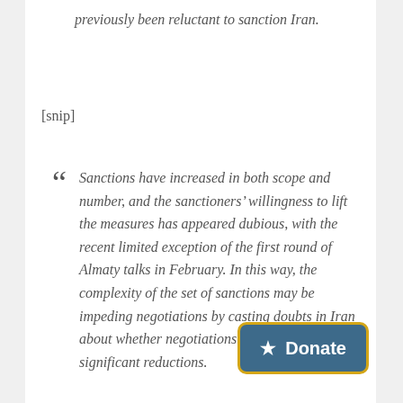previously been reluctant to sanction Iran.
[snip]
“ Sanctions have increased in both scope and number, and the sanctioners’ willingness to lift the measures has appeared dubious, with the recent limited exception of the first round of Almaty talks in February. In this way, the complexity of the set of sanctions may be impeding negotiations by casting doubts in Iran about whether negotiations in fact will lead to significant reductions.